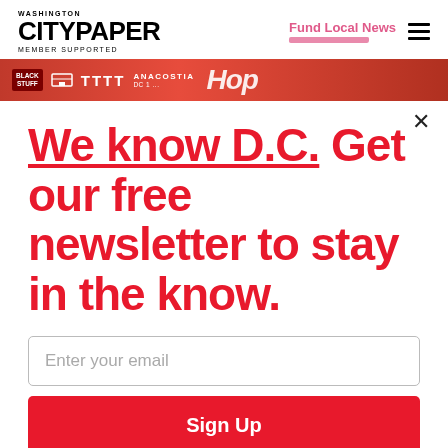WASHINGTON CITYPAPER MEMBER SUPPORTED
Fund Local News
[Figure (screenshot): Red banner advertisement for Anacostia DC event]
We know D.C. Get our free newsletter to stay in the know.
Enter your email
Sign Up
Unsubscribe any time.